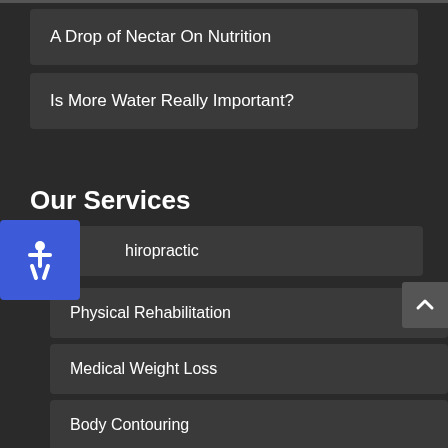A Drop of Nectar On Nutrition
Is More Water Really Important?
Our Services
Chiropractic
Physical Rehabilitation
Medical Weight Loss
Body Contouring
SoftWave Therapy